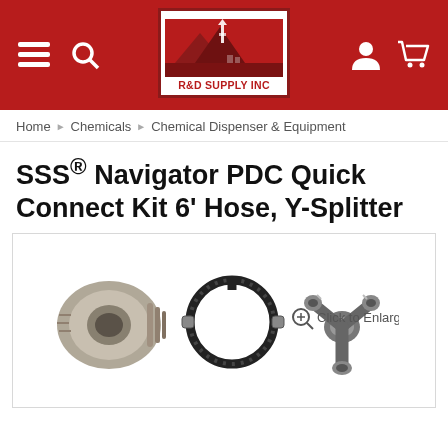R&D SUPPLY INC — Navigation header with logo, menu, search, account, and cart icons
Home › Chemicals › Chemical Dispenser & Equipment
SSS® Navigator PDC Quick Connect Kit 6' Hose, Y-Splitter
[Figure (photo): Product photo showing three components: a gray plastic threaded coupling/adapter, a black coiled 6-foot hose with metal ends, and a silver Y-splitter fitting with multiple ports. A magnifying glass icon with 'Click to Enlarge' text appears to the right.]